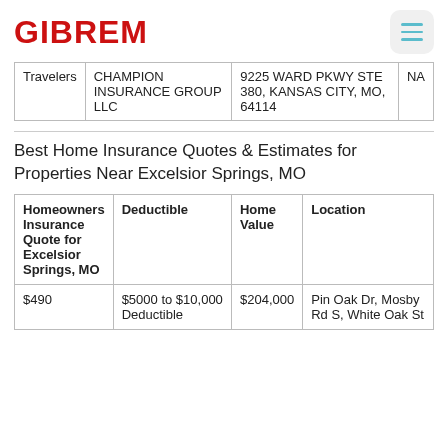GIBREM
|  |  |  |  |
| --- | --- | --- | --- |
| Travelers | CHAMPION INSURANCE GROUP LLC | 9225 WARD PKWY STE 380, KANSAS CITY, MO, 64114 | NA |
Best Home Insurance Quotes & Estimates for Properties Near Excelsior Springs, MO
| Homeowners Insurance Quote for Excelsior Springs, MO | Deductible | Home Value | Location |
| --- | --- | --- | --- |
| $490 | $5000 to $10,000 Deductible | $204,000 | Pin Oak Dr, Mosby Rd S, White Oak St |